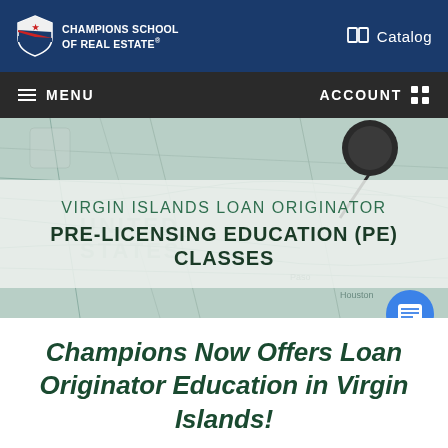[Figure (logo): Champions School of Real Estate logo with shield icon and white text on blue background, plus Catalog link on right]
≡ MENU    ACCOUNT ⊞
[Figure (photo): Hero banner showing a map background with a push pin, tinted green/teal, with a frosted overlay containing the heading text: VIRGIN ISLANDS LOAN ORIGINATOR PRE-LICENSING EDUCATION (PE) CLASSES]
VIRGIN ISLANDS LOAN ORIGINATOR PRE-LICENSING EDUCATION (PE) CLASSES
Champions Now Offers Loan Originator Education in Virgin Islands!